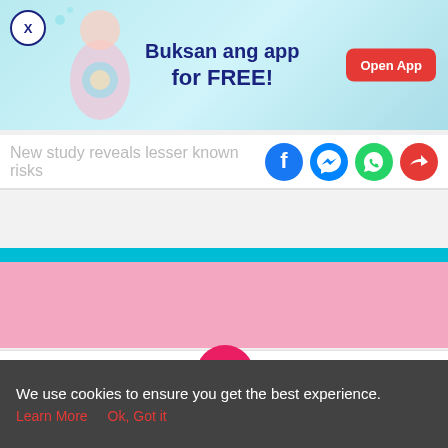[Figure (screenshot): App promotion banner with light blue background, pregnant woman illustration, text 'Buksan ang app for FREE!' and red 'Open App' button]
New study reveals lesser known risks
[Figure (infographic): Social sharing icons: Facebook, Messenger, WhatsApp, Share]
[Figure (illustration): Teal bar with pink content area below (advertisement placeholder)]
[Figure (screenshot): Bottom navigation bar with Tools, Articles, center baby feet logo, Feed, Poll icons]
We use cookies to ensure you get the best experience.
Learn More   Ok, Got it